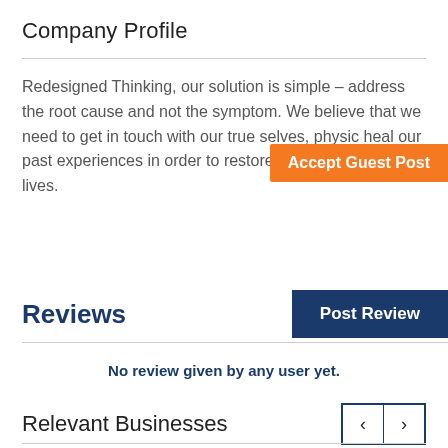Company Profile
Redesigned Thinking, our solution is simple – address the root cause and not the symptom. We believe that we need to get in touch with our true selves, physic… heal our past experiences in order to restore true harmony in our lives.
[Figure (other): Orange button/badge labeled 'Accept Guest Post']
Reviews
[Figure (other): Dark navy blue button labeled 'Post Review']
No review given by any user yet.
Relevant Businesses
[Figure (other): Navigation previous/next arrow buttons]